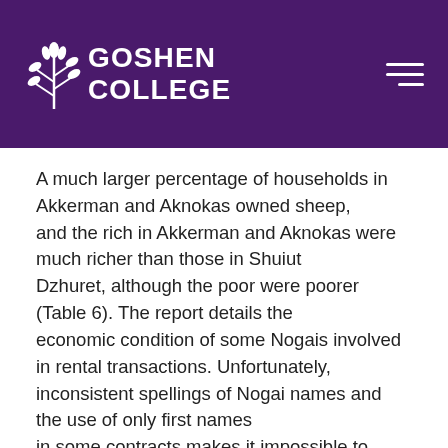Goshen College
A much larger percentage of households in Akkerman and Aknokas owned sheep, and the rich in Akkerman and Aknokas were much richer than those in Shuiut Dzhuret, although the poor were poorer (Table 6). The report details the economic condition of some Nogais involved in rental transactions. Unfortunately, inconsistent spellings of Nogai names and the use of only first names in some contracts makes it impossible to identify all participants, but 10 of the 33 can be identified. Eight of these 10 were poor, owning no